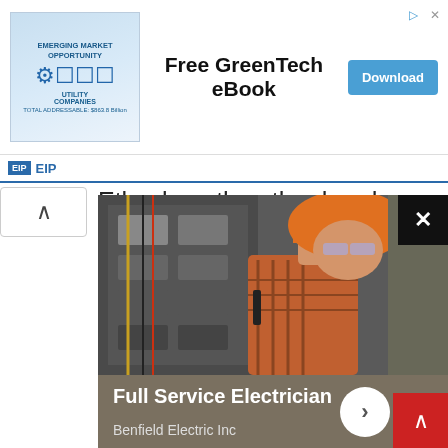[Figure (infographic): Ad banner: Emerging Market Opportunity - Utility Companies graphic with EIP logo]
[Figure (infographic): Free GreenTech eBook advertisement with Download button]
EIP EIP
Ethyol, on the other hand, may be able to protect your body against some of the more significant side effects that chemotherapy can bring about.
[Figure (photo): Electrician working on electrical panel wearing orange hard hat and plaid shirt. Ad overlay for Full Service Electrician - Benfield Electric Inc with close button and forward arrow.]